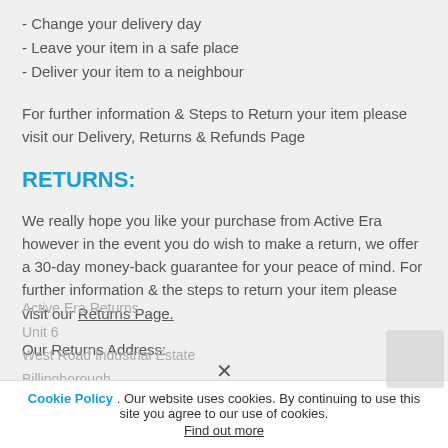- Change your delivery day
- Leave your item in a safe place
- Deliver your item to a neighbour
For further information & Steps to Return your item please visit our Delivery, Returns & Refunds Page
RETURNS:
We really hope you like your purchase from Active Era however in the event you do wish to make a return, we offer a 30-day money-back guarantee for your peace of mind. For further information & the steps to return your item please visit our Returns Page.
Our Returns Address:
Active Era Returns
Unit 6
West Road Industrial Estate
Billingborough
Cookie Policy . Our website uses cookies. By continuing to use this site you agree to our use of cookies. Find out more